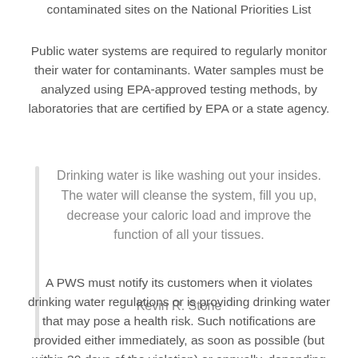contaminated sites on the National Priorities List
Public water systems are required to regularly monitor their water for contaminants. Water samples must be analyzed using EPA-approved testing methods, by laboratories that are certified by EPA or a state agency.
Drinking water is like washing out your insides. The water will cleanse the system, fill you up, decrease your caloric load and improve the function of all your tissues.
Kevin R. Stone
A PWS must notify its customers when it violates drinking water regulations or is providing drinking water that may pose a health risk. Such notifications are provided either immediately, as soon as possible (but within 30 days of the violation) or annually, depending